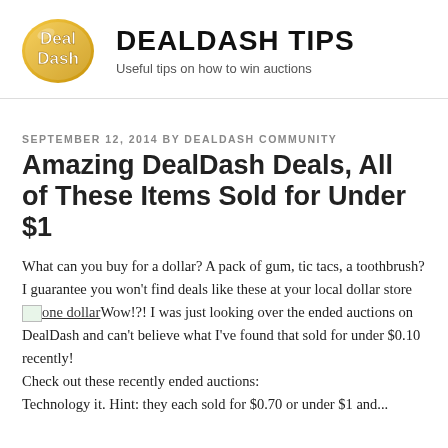DEALDASH TIPS
Useful tips on how to win auctions
SEPTEMBER 12, 2014 BY DEALDASH COMMUNITY
Amazing DealDash Deals, All of These Items Sold for Under $1
What can you buy for a dollar? A pack of gum, tic tacs, a toothbrush?
I guarantee you won't find deals like these at your local dollar store [one dollar image] Wow!?! I was just looking over the ended auctions on DealDash and can't believe what I've found that sold for under $0.10 recently!
Check out these recently ended auctions:
Technology it. Hint: they each sold for $0.70 or under $1 and...